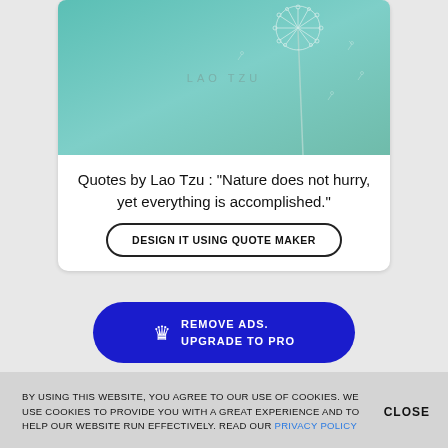[Figure (photo): Teal/mint colored background with a dandelion flower and text 'LAO TZU' in the center]
Quotes by Lao Tzu : “Nature does not hurry, yet everything is accomplished.”
DESIGN IT USING QUOTE MAKER
REMOVE ADS. UPGRADE TO PRO
BY USING THIS WEBSITE, YOU AGREE TO OUR USE OF COOKIES. WE USE COOKIES TO PROVIDE YOU WITH A GREAT EXPERIENCE AND TO HELP OUR WEBSITE RUN EFFECTIVELY. READ OUR PRIVACY POLICY
CLOSE